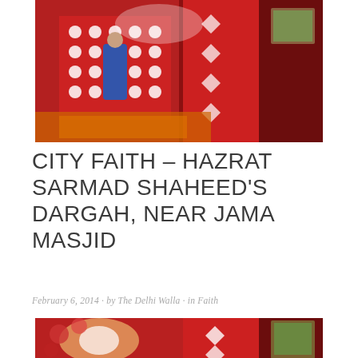[Figure (photo): Interior of a dargah shrine decorated with red and white lattice patterns and diamond motifs. A person in blue clothing stands at the shrine, surrounded by marigold flowers. A framed picture is visible on the right wall.]
CITY FAITH – HAZRAT SARMAD SHAHEED'S DARGAH, NEAR JAMA MASJID
February 6, 2014 · by The Delhi Walla · in Faith
[Figure (photo): Close-up interior view of the same dargah shrine with red decorations, bright lights, diamond-pattern tiles, and a framed picture on the right side.]